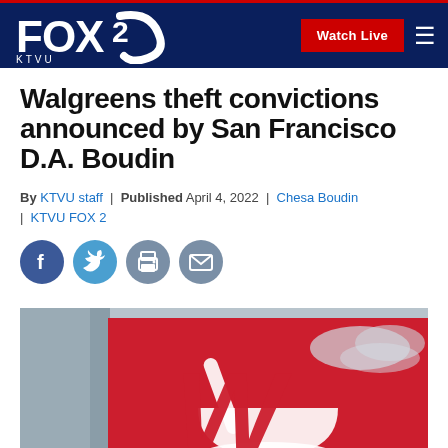[Figure (logo): FOX 2 KTVU logo in white on dark navy navigation bar with Watch Live red button and hamburger menu icon]
Walgreens theft convictions announced by San Francisco D.A. Boudin
By KTVU staff | Published April 4, 2022 | Chesa Boudin | KTVU FOX 2
[Figure (infographic): Row of four social sharing icon buttons: Facebook (blue circle with f), Twitter (light blue circle with bird), Print (grey circle with printer), Email (grey circle with envelope)]
[Figure (photo): Photograph of a Walgreens store sign — red background with white cursive W logo and mortar icon, with TM mark, against a cloudy sky and building corner visible]